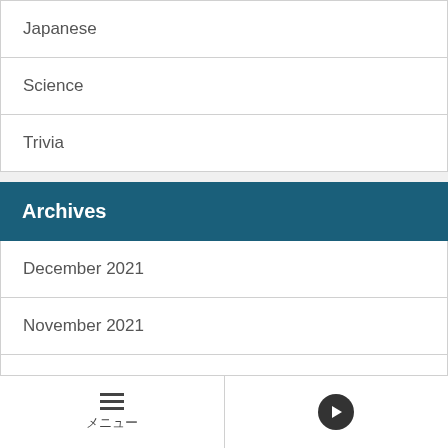Japanese
Science
Trivia
Archives
December 2021
November 2021
October 2021
September 2021
August 2021
メニュー